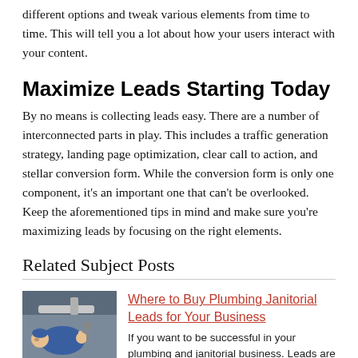different options and tweak various elements from time to time. This will tell you a lot about how your users interact with your content.
Maximize Leads Starting Today
By no means is collecting leads easy. There are a number of interconnected parts in play. This includes a traffic generation strategy, landing page optimization, clear call to action, and stellar conversion form. While the conversion form is only one component, it’s an important one that can’t be overlooked. Keep the aforementioned tips in mind and make sure you’re maximizing leads by focusing on the right elements.
Related Subject Posts
[Figure (photo): A plumber in blue uniform working under a sink, viewed from below]
Where to Buy Plumbing Janitorial Leads for Your Business
If you want to be successful in your plumbing and janitorial business. Leads are important, but